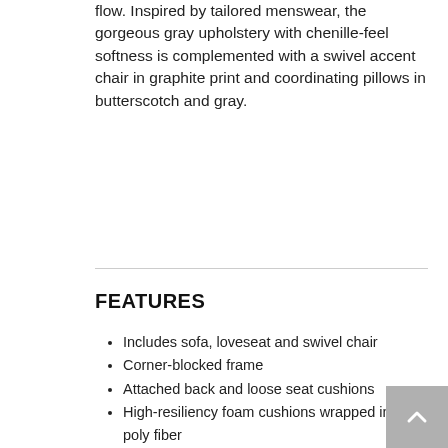flow. Inspired by tailored menswear, the gorgeous gray upholstery with chenille-feel softness is complemented with a swivel accent chair in graphite print and coordinating pillows in butterscotch and gray.
FEATURES
Includes sofa, loveseat and swivel chair
Corner-blocked frame
Attached back and loose seat cushions
High-resiliency foam cushions wrapped in thick poly fiber
Accent pillows included
Pillows with soft polyfill
Polyester upholstery and pillows
Sofa and loveseat's platform foundation system resists sagging 3x better than spring system after 20,000 testing cycles by providing more even support